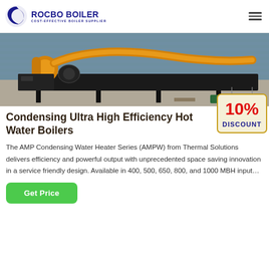ROCBO BOILER — COST-EFFECTIVE BOILER SUPPLIER
[Figure (photo): Industrial boiler equipment in a warehouse: large orange/yellow pipes and metal structures on a concrete floor with corrugated metal wall in background]
Condensing Ultra High Efficiency Hot Water Boilers
[Figure (illustration): 10% DISCOUNT badge/sticker in red and gold]
The AMP Condensing Water Heater Series (AMPW) from Thermal Solutions delivers efficiency and powerful output with unprecedented space saving innovation in a service friendly design. Available in 400, 500, 650, 800, and 1000 MBH input…
Get Price